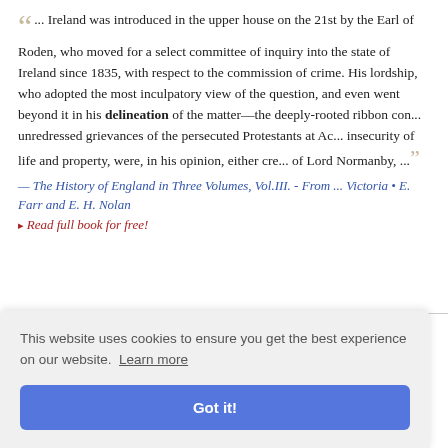... Ireland was introduced in the upper house on the 21st by the Earl of Roden, who moved for a select committee of inquiry into the state of Ireland since 1835, with respect to the commission of crime. His lordship, who adopted the most inculpatory view of the question, and even went beyond it in his delineation of the matter—the deeply-rooted ribbon conspiracy, the unredressed grievances of the persecuted Protestants at Achill, and the insecurity of life and property, were, in his opinion, either created or fostered of Lord Normanby, ...
— The History of England in Three Volumes, Vol.III. - From ... Victoria • E. Farr and E. H. Nolan
▸ Read full book for free!
... ourselves to bear. Little can any, who do not endure it, ... ted and dis... an they dre... h, over a b... adder, are... nd we fix o...
This website uses cookies to ensure you get the best experience on our website. Learn more
Got it!
▸ Read full book for free!